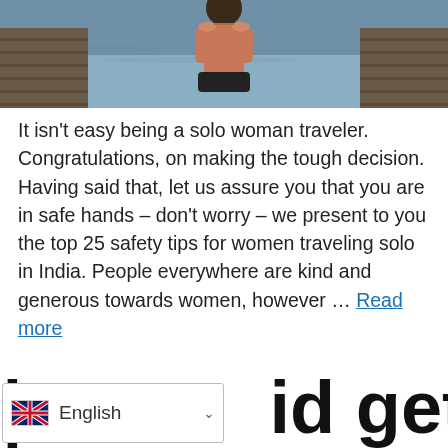[Figure (photo): Woman standing on a wooden dock over water, viewed from behind, wearing a dark bottom and showing her back/torso, with dock boards visible on either side and water in the background.]
It isn't easy being a solo woman traveler. Congratulations, on making the tough decision. Having said that, let us assure you that you are in safe hands – don't worry – we present to you the top 25 safety tips for women traveling solo in India. People everywhere are kind and generous towards women, however … Read more
id getting
English